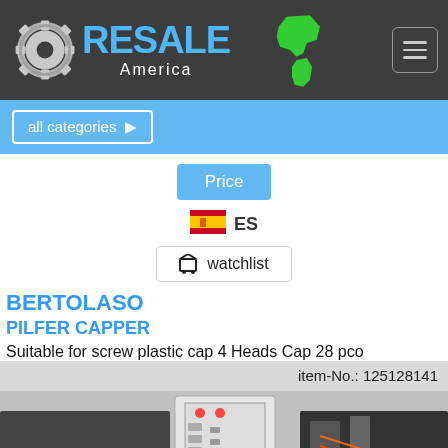[Figure (logo): Resale America logo with gear icon, blue RESALE text, white America text, and green Americas map silhouette]
all categories ▶
Price
[Figure (other): Spanish flag icon]
ES
🛒 watchlist
BERTOLASO
PILFER CAPPER
Suitable for screw plastic cap 4 Heads Cap 28 pco
item-No.: 125128141
[Figure (photo): Industrial pilfer capper machine with control panel, yellow wheels, and mechanical components]